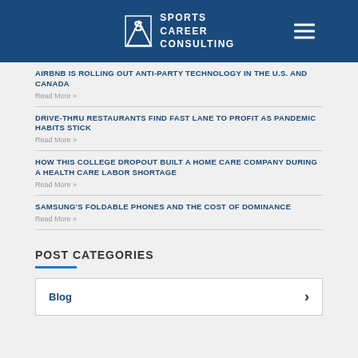Sports Career Consulting
AIRBNB IS ROLLING OUT ANTI-PARTY TECHNOLOGY IN THE U.S. AND CANADA
Read More »
DRIVE-THRU RESTAURANTS FIND FAST LANE TO PROFIT AS PANDEMIC HABITS STICK
Read More »
HOW THIS COLLEGE DROPOUT BUILT A HOME CARE COMPANY DURING A HEALTH CARE LABOR SHORTAGE
Read More »
SAMSUNG'S FOLDABLE PHONES AND THE COST OF DOMINANCE
Read More »
POST CATEGORIES
Blog